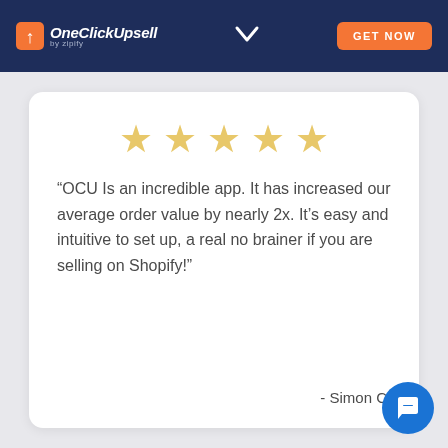OneClickUpsell by zipify — GET NOW
[Figure (other): Five gold star rating icons in a horizontal row]
“OCU Is an incredible app. It has increased our average order value by nearly 2x. It’s easy and intuitive to set up, a real no brainer if you are selling on Shopify!”
- Simon C